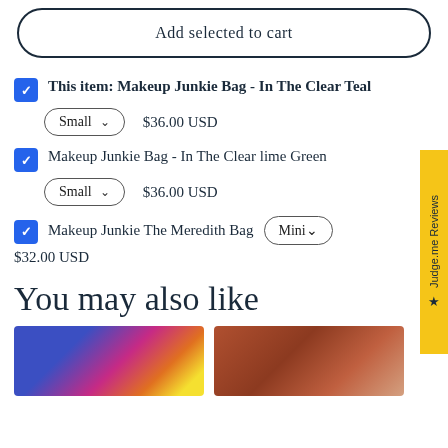Add selected to cart
This item: Makeup Junkie Bag - In The Clear Teal  Small  $36.00 USD
Makeup Junkie Bag - In The Clear lime Green  Small  $36.00 USD
Makeup Junkie The Meredith Bag  Mini  $32.00 USD
You may also like
[Figure (photo): Two product photos side by side showing makeup bags]
★ Judge.me Reviews